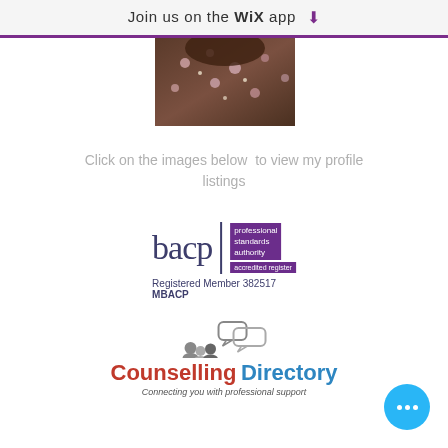Join us on the WiX app
[Figure (photo): Partial photo of a person wearing a floral patterned outfit, showing head and shoulders area cropped.]
Click on the images below to view my profile listings
[Figure (logo): BACP (British Association for Counselling and Psychotherapy) logo with Professional Standards Authority accredited register badge. Text reads: Registered Member 382517 MBACP]
[Figure (logo): Counselling Directory logo with speech bubble and people icons. Text reads: Counselling Directory - Connecting you with professional support]